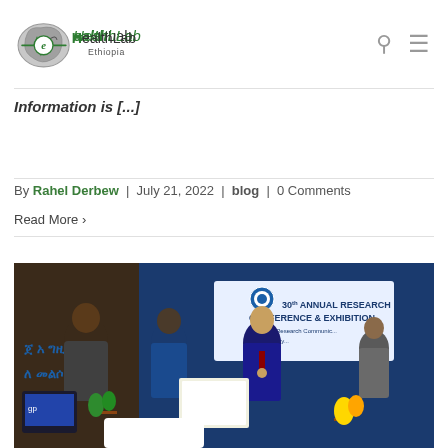eHealthLab Ethiopia
Information is [...]
By Rahel Derbew | July 21, 2022 | blog | 0 Comments
Read More >
[Figure (photo): Photo of people at the 30th Annual Research Conference & Exhibition event, showing individuals exchanging documents/awards on stage with a conference banner in the background.]